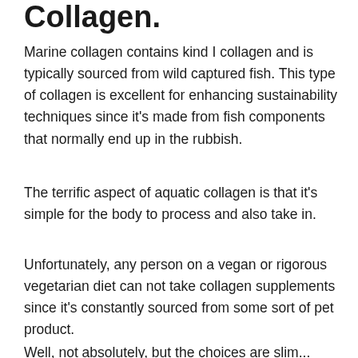Collagen.
Marine collagen contains kind I collagen and is typically sourced from wild captured fish. This type of collagen is excellent for enhancing sustainability techniques since it’s made from fish components that normally end up in the rubbish.
The terrific aspect of aquatic collagen is that it’s simple for the body to process and also take in.
Unfortunately, any person on a vegan or rigorous vegetarian diet can not take collagen supplements since it’s constantly sourced from some sort of pet product.
Well, not absolutely, but the choices are slim...